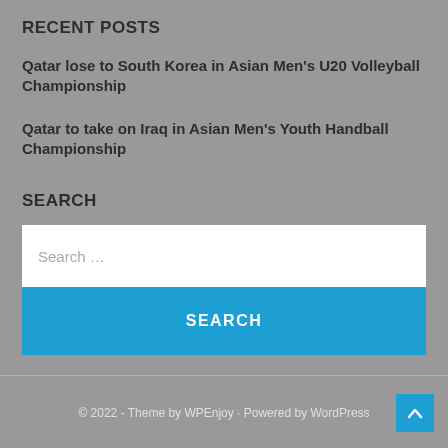RECENT POSTS
Qatar lose to South Korea in Asian Men's U20 Volleyball Championship
Qatar to take on Iraq in Asian Men's Youth Handball Championship
SEARCH
Search …
SEARCH
© 2022 - Theme by WPEnjoy · Powered by WordPress